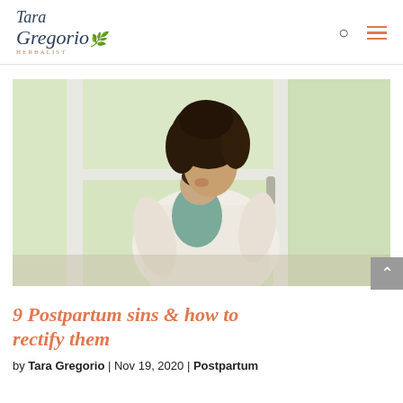Tara Gregorio Herbalist
[Figure (photo): A woman with curly hair holding and kissing a baby near a glass door with a garden visible in the background.]
9 Postpartum sins & how to rectify them
by Tara Gregorio | Nov 19, 2020 | Postpartum